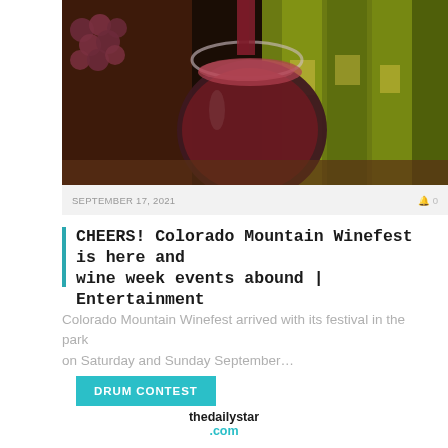[Figure (photo): Close-up photo of red wine being poured into a stemless glass, with grapes on the left and wine bottles in the background]
SEPTEMBER 17, 2021
CHEERS! Colorado Mountain Winefest is here and wine week events abound | Entertainment
Colorado Mountain Winefest arrived with its festival in the park on Saturday and Sunday September…
DRUM CONTEST
thedailystar.com